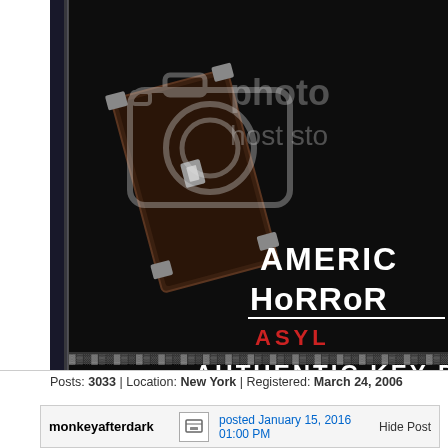[Figure (photo): American Horror Story Asylum authentic key prop merchandise/collectible image, dark background with decorative rope border, partially cropped with photobucket watermark overlay]
Posts: 3033 | Location: New York | Registered: March 24, 2006
monkeyafterdark   posted January 15, 2016 01:00 PM   Hide Post